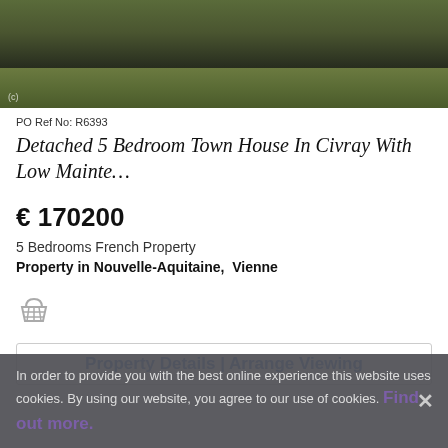[Figure (photo): Aerial or landscape photo of a grassy property area with dark soil/earth]
PO Ref No: R6393
Detached 5 Bedroom Town House In Civray With Low Mainte…
€ 170200
5 Bedrooms French Property
Property in Nouvelle-Aquitaine,  Vienne
[Figure (illustration): Shopping basket / add to cart icon]
Property Details  | Arrange Viewing
In order to provide you with the best online experience this website uses cookies. By using our website, you agree to our use of cookies. Find out more.